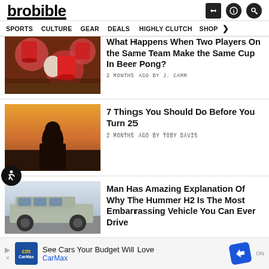brobible
SPORTS  CULTURE  GEAR  DEALS  HIGHLY CLUTCH  SHOP
What Happens When Two Players On the Same Team Make the Same Cup In Beer Pong?
2 MONTHS AGO BY J. CAMM
7 Things You Should Do Before You Turn 25
2 MONTHS AGO BY TOBY DAVIS
Man Has Amazing Explanation Of Why The Hummer H2 Is The Most Embarrassing Vehicle You Can Ever Drive
See Cars Your Budget Will Love CarMax